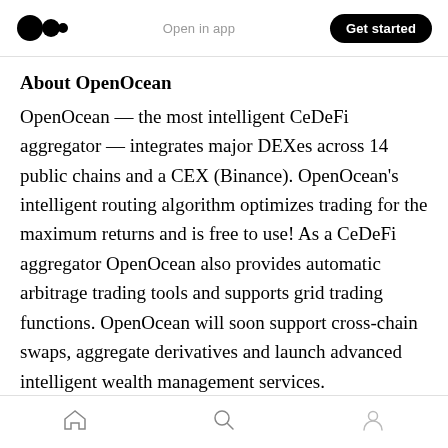Open in app  Get started
About OpenOcean
OpenOcean — the most intelligent CeDeFi aggregator — integrates major DEXes across 14 public chains and a CEX (Binance). OpenOcean's intelligent routing algorithm optimizes trading for the maximum returns and is free to use! As a CeDeFi aggregator OpenOcean also provides automatic arbitrage trading tools and supports grid trading functions. OpenOcean will soon support cross-chain swaps, aggregate derivatives and launch advanced intelligent wealth management services.
Home  Search  Profile